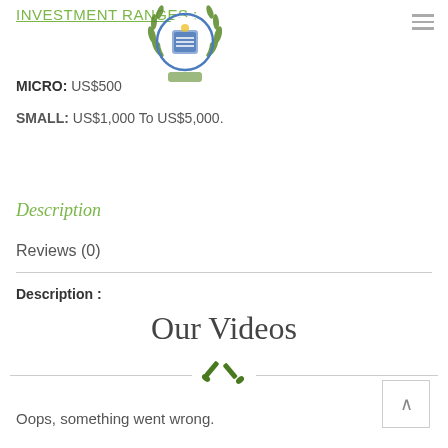INVESTMENT RANGES :
[Figure (logo): Circular emblem/crest with laurel wreath, green and blue colors]
MICRO:  US$500
SMALL:  US$1,000 To US$5,000.
Description
Reviews (0)
Description :
Our Videos
[Figure (illustration): Crossed tools/shovels icon in dark green with horizontal decorative lines on either side]
Oops, something went wrong.